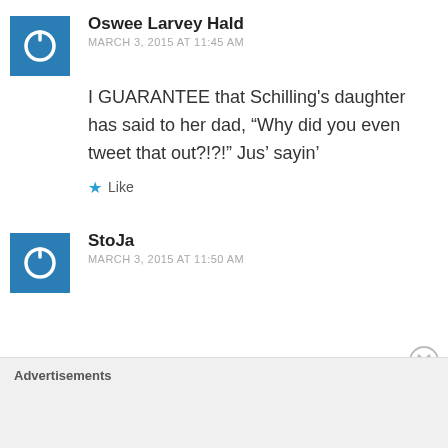Oswee Larvey Hald
MARCH 3, 2015 AT 11:45 AM
I GUARANTEE that Schilling's daughter has said to her dad, “Why did you even tweet that out?!?!” Jus’ sayin’
Like
StoJa
MARCH 3, 2015 AT 11:50 AM
Advertisements